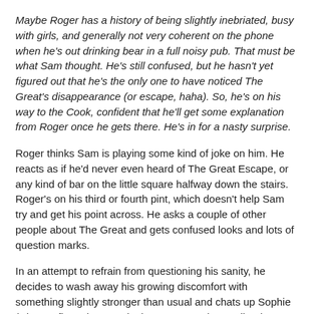Maybe Roger has a history of being slightly inebriated, busy with girls, and generally not very coherent on the phone when he's out drinking bear in a full noisy pub. That must be what Sam thought. He's still confused, but he hasn't yet figured out that he's the only one to have noticed The Great's disappearance (or escape, haha). So, he's on his way to the Cook, confident that he'll get some explanation from Roger once he gets there. He's in for a nasty surprise.
Roger thinks Sam is playing some kind of joke on him. He reacts as if he'd never even heard of The Great Escape, or any kind of bar on the little square halfway down the stairs. Roger's on his third or fourth pint, which doesn't help Sam try and get his point across. He asks a couple of other people about The Great and gets confused looks and lots of question marks.
In an attempt to refrain from questioning his sanity, he decides to wash away his growing discomfort with something slightly stronger than usual and chats up Sophie (who confirms they met in the very same bar earlier that week, and gives him a puzzled look when he tries to talk about The Great's disappearance).
She's really getting into the story now. She's going to have to make up for her tea-totalling habits with some “academic” research on alcoholic